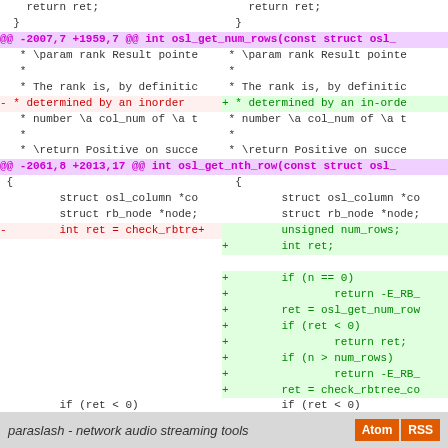[Figure (screenshot): A split diff view showing code changes in a C source file, with two columns showing the old and new versions side by side. Diff hunks are highlighted in purple, removed lines in red/pink, added lines in green. The diff shows changes to osl_get_num_rows and osl_get_nth_row functions.]
paraslash - network audio streaming tools  Atom  RSS